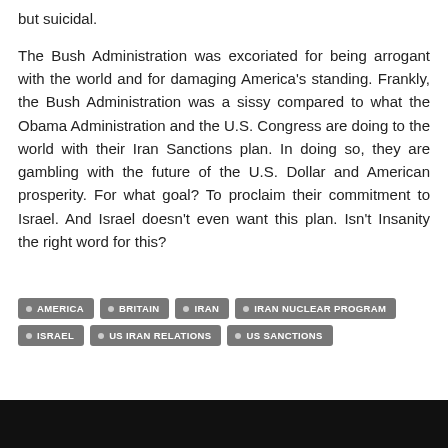but suicidal.
The Bush Administration was excoriated for being arrogant with the world and for damaging America's standing. Frankly, the Bush Administration was a sissy compared to what the Obama Administration and the U.S. Congress are doing to the world with their Iran Sanctions plan. In doing so, they are gambling with the future of the U.S. Dollar and American prosperity. For what goal? To proclaim their commitment to Israel. And Israel doesn't even want this plan. Isn't Insanity the right word for this?
AMERICA
BRITAIN
IRAN
IRAN NUCLEAR PROGRAM
ISRAEL
US IRAN RELATIONS
US SANCTIONS